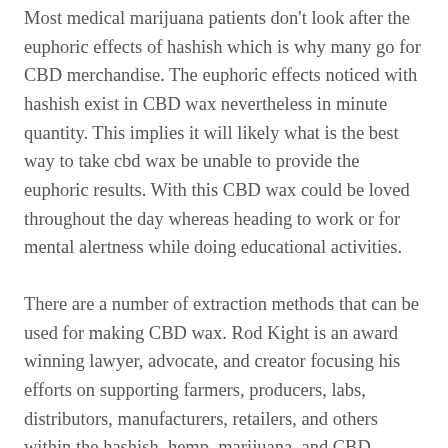Most medical marijuana patients don't look after the euphoric effects of hashish which is why many go for CBD merchandise. The euphoric effects noticed with hashish exist in CBD wax nevertheless in minute quantity. This implies it will likely what is the best way to take cbd wax be unable to provide the euphoric results. With this CBD wax could be loved throughout the day whereas heading to work or for mental alertness while doing educational activities.
There are a number of extraction methods that can be used for making CBD wax. Rod Kight is an award winning lawyer, advocate, and creator focusing his efforts on supporting farmers, producers, labs, distributors, manufacturers, retailers, and others within the hashish, hemp, marijuana, and CBD industries. You possibly can cease using cbd dab wax